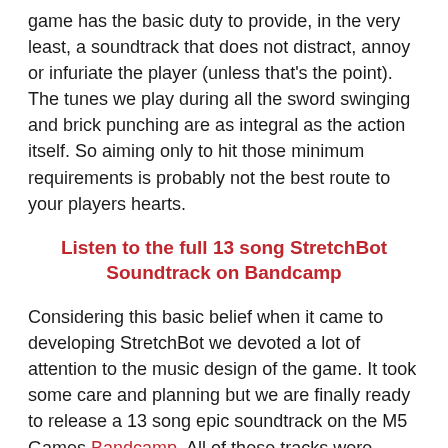game has the basic duty to provide, in the very least, a soundtrack that does not distract, annoy or infuriate the player (unless that's the point).  The tunes we play during all the sword swinging and brick punching are as integral as the action itself. So aiming only to hit those minimum requirements is probably not the best route to your players hearts.
Listen to the full 13 song StretchBot Soundtrack on Bandcamp
Considering this basic belief when it came to developing StretchBot we devoted a lot of attention to the music design of the game. It took some care and planning but we are finally ready to release a 13 song epic soundtrack on the M5 Games Bandcamp. All of these tracks were composed and recorded by a